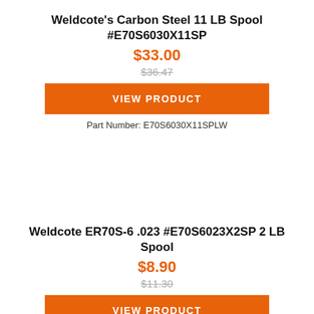Weldcote's Carbon Steel 11 LB Spool #E70S6030X11SP
$33.00
$36.47
VIEW PRODUCT
Part Number: E70S6030X11SPLW
Weldcote ER70S-6 .023 #E70S6023X2SP 2 LB Spool
$8.90
$11.30
VIEW PRODUCT